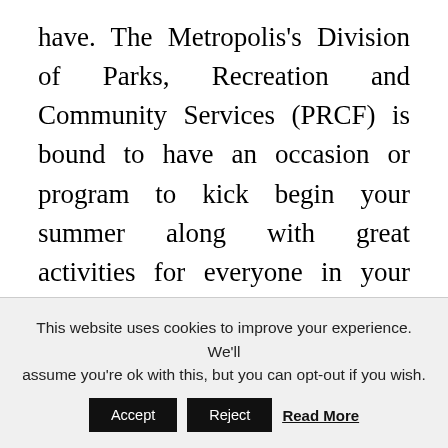have. The Metropolis's Division of Parks, Recreation and Community Services (PRCF) is bound to have an occasion or program to kick begin your summer along with great activities for everyone in your family! Oklahoma turned the 46th state to affix the United States of America on November 16, 1907. Don has a BA from St. Mary's College of California and belongs to the Society of Outdoor Recreation Professionals. The frame geometry is really snug and it works well as either a recreational trails bike, or a daily commuter if your path to work is a bit off-highway. They could lead
This website uses cookies to improve your experience. We'll assume you're ok with this, but you can opt-out if you wish.
Accept   Reject   Read More